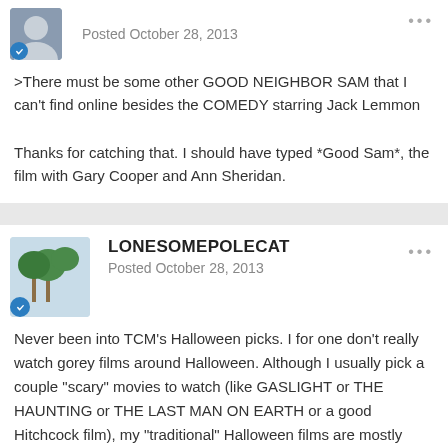Posted October 28, 2013
>There must be some other GOOD NEIGHBOR SAM that I can't find online besides the COMEDY starring Jack Lemmon
Thanks for catching that. I should have typed *Good Sam*, the film with Gary Cooper and Ann Sheridan.
LONESOMEPOLECAT
Posted October 28, 2013
Never been into TCM's Halloween picks. I for one don't really watch gorey films around Halloween. Although I usually pick a couple "scary" movies to watch (like GASLIGHT or THE HAUNTING or THE LAST MAN ON EARTH or a good Hitchcock film), my "traditional" Halloween films are mostly funny and fun, along the lines of IT'S THE GREAT PUMPKIN, CHARLIE BROWN (not that TCM can show that, but that type of thing). This is why I always wanted TCM to show these movies around Halloween.